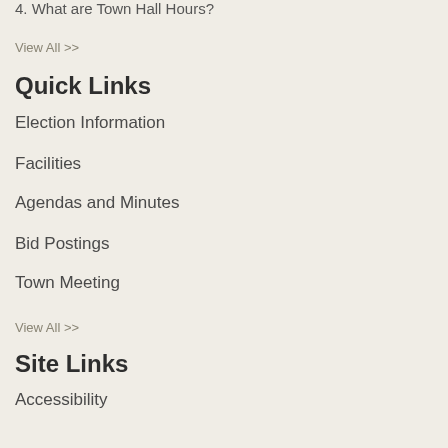4. What are Town Hall Hours?
View All >>
Quick Links
Election Information
Facilities
Agendas and Minutes
Bid Postings
Town Meeting
View All >>
Site Links
Accessibility
Site Map
Translate